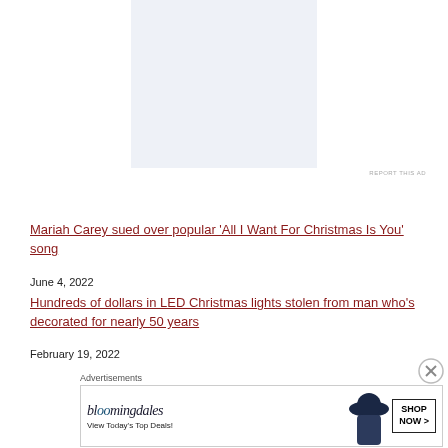[Figure (other): Light blue/grey advertisement placeholder box]
REPORT THIS AD
Mariah Carey sued over popular 'All I Want For Christmas Is You' song
June 4, 2022
Hundreds of dollars in LED Christmas lights stolen from man who's decorated for nearly 50 years
February 19, 2022
Advertisements
[Figure (other): Bloomingdale's advertisement banner with logo, 'View Today's Top Deals!' text, woman with large hat, and 'SHOP NOW >' button]